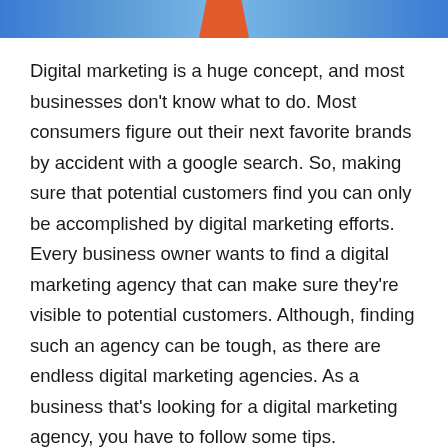[Figure (illustration): Blue gradient header banner with an orange/red trapezoid shape in the center top]
Digital marketing is a huge concept, and most businesses don't know what to do. Most consumers figure out their next favorite brands by accident with a google search. So, making sure that potential customers find you can only be accomplished by digital marketing efforts. Every business owner wants to find a digital marketing agency that can make sure they're visible to potential customers. Although, finding such an agency can be tough, as there are endless digital marketing agencies. As a business that's looking for a digital marketing agency, you have to follow some tips.
Finding the right digital marketing agency for your business is challenging. Businesses need to have a few factors in mind before finalizing an SEO company. These factors will make sure that you don't end up picking a digital marketing